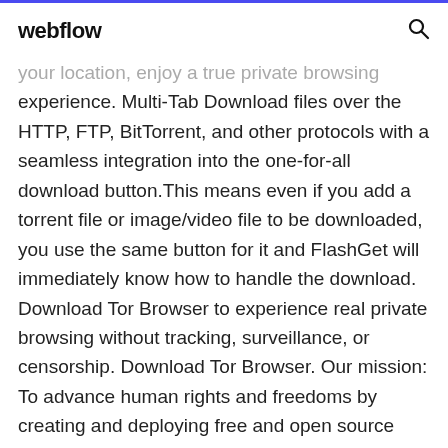webflow
your location, enjoy a true private browsing experience. Multi-Tab Download files over the HTTP, FTP, BitTorrent, and other protocols with a seamless integration into the one-for-all download button.This means even if you add a torrent file or image/video file to be downloaded, you use the same button for it and FlashGet will immediately know how to handle the download. Download Tor Browser to experience real private browsing without tracking, surveillance, or censorship. Download Tor Browser. Our mission: To advance human rights and freedoms by creating and deploying free and open source anonymity and privacy technologies, supporting their unrestricted